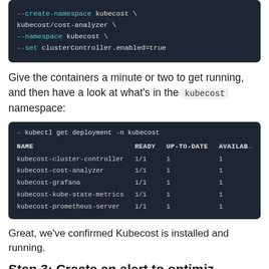[Figure (screenshot): Terminal code block showing helm install flags: --create-namespace kubecost \, kubecost/cost-analyzer \, --namespace kubecost \, --set clusterController.enabled=true]
Give the containers a minute or two to get running, and then have a look at what's in the kubecost namespace:
[Figure (screenshot): Terminal output of 'kubectl get deployment -n kubecost' showing NAME, READY, UP-TO-DATE, AVAILABLE columns with rows: kubecost-cluster-controller 1/1 1 1, kubecost-cost-analyzer 1/1 1 1, kubecost-grafana 1/1 1 1, kubecost-kube-state-metrics 1/1 1 1, kubecost-prometheus-server 1/1 1 1]
Great, we've confirmed Kubecost is installed and running.
Step 3: Create an alert to optimize